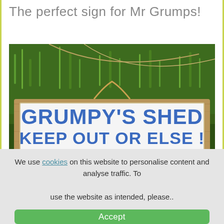The perfect sign for Mr Grumps!
[Figure (photo): A wooden sign with blue text reading 'GRUMPY'S SHED KEEP OUT OR ELSE!' hanging outdoors against a green grass background.]
We use cookies on this website to personalise content and analyse traffic. To use the website as intended, please..
Accept